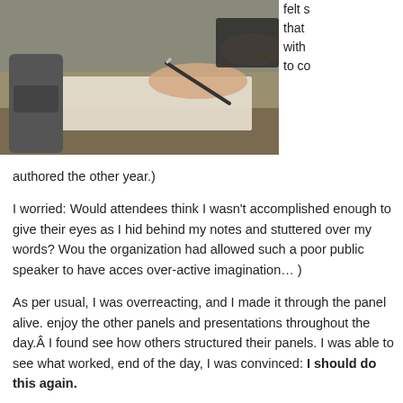[Figure (photo): Hands writing with a pen on paper on a desk, with a stapler visible on the left side.]
felt s that with to co authored the other year.)
I worried: Would attendees think I wasn't accomplished enough to give their eyes as I hid behind my notes and stuttered over my words? Wou the organization had allowed such a poor public speaker to have acces over-active imagination… )
As per usual, I was overreacting, and I made it through the panel alive. enjoy the other panels and presentations throughout the day. I found see how others structured their panels. I was able to see what worked, end of the day, I was convinced: I should do this again.
Putting together a panel — whether at a major conference or as a sma be a great marketing tool. It can help you establish yourself as an expe contact with other luminaries in your field. It can raise your visibility. It c resume. It can even act as a source of income!
But putting together a successful panel? That's something else. [Read